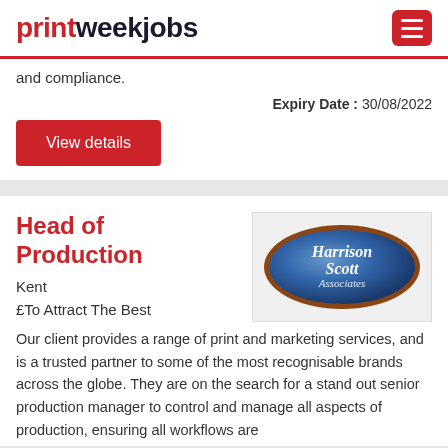printweekjobs
and compliance.
Expiry Date : 30/08/2022
View details
Head of Production
Kent
£To Attract The Best
[Figure (logo): Harrison Scott Associates oval logo with blue gradient background and brown border]
Our client provides a range of print and marketing services, and is a trusted partner to some of the most recognisable brands across the globe. They are on the search for a stand out senior production manager to control and manage all aspects of production, ensuring all workflows are